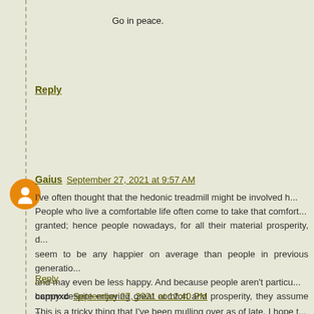Go in peace.
Reply
Gaius September 27, 2021 at 9:57 AM
I've often thought that the hedonic treadmill might be involved h... People who live a comfortable life often come to take that comfort... granted; hence people nowadays, for all their material prosperity, d... seem to be any happier on average than people in previous generatio... and may even be less happy. And because people aren't particu... happy despite enjoying great comfort and prosperity, they assume ... anybody who doesn't enjoy these things -- medieval peasants, mod... third-worlders, etc. -- must be unhappy. Hence modern first-worl... tend to overestimate the unhappiness caused by suffering, ... consequently overrate the problem of evil as an argument against Go...
Reply
ccmnxc September 27, 2021 at 12:40 PM
This is a tricky thing that I've been mulling over as of late. I hope t...